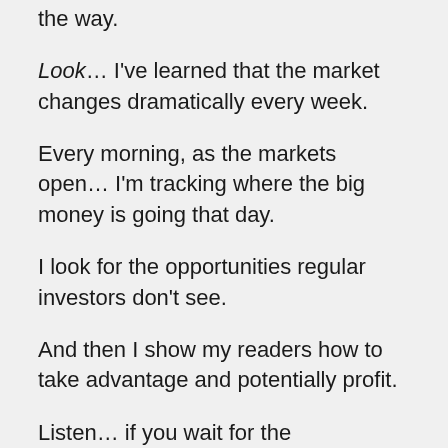the way.
Look… I've learned that the market changes dramatically every week.
Every morning, as the markets open… I'm tracking where the big money is going that day.
I look for the opportunities regular investors don't see.
And then I show my readers how to take advantage and potentially profit.
Listen… if you wait for the mainstream media to tell you where to invest, you might as well just turn your bank account over to Wall